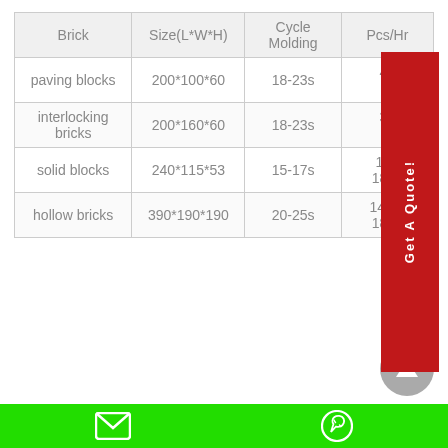| Brick | Size(L*W*H) | Cycle Molding | Pcs/Hr |
| --- | --- | --- | --- |
| paving blocks | 200*100*60 | 18-23s | 4~6 (partially obscured) |
| interlocking bricks | 200*160*60 | 18-23s | 3~4 (partially obscured) |
| solid blocks | 240*115*53 | 15-17s | 12~1800 (partially obscured) |
| hollow bricks | 390*190*190 | 20-25s | 1440-1800 |
Email and WhatsApp contact icons